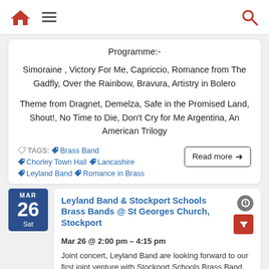Navigation bar with home, menu, and search icons
Programme:-

Simoraine , Victory For Me, Capriccio, Romance from The Gadfly, Over the Rainbow, Bravura, Artistry in Bolero

Theme from Dragnet, Demelza, Safe in the Promised Land, Shout!, No Time to Die, Don't Cry for Me Argentina, An American Trilogy
TAGS: Brass Band  Read more →  Chorley Town Hall  Lancashire  Leyland Band  Romance in Brass
MAR 26 Sat
Leyland Band & Stockport Schools Brass Bands @ St Georges Church, Stockport
Mar 26 @ 2:00 pm – 4:15 pm
Joint concert, Leyland Band are looking forward to our first joint venture with Stockport Schools Brass Band.
We are delighted to be welcoming SSBB (the Youth Brass